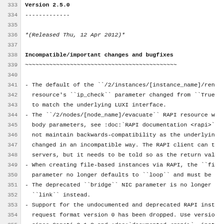Version 2.5.0
-------------
*(Released Thu, 12 Apr 2012)*
Incompatible/important changes and bugfixes
~~~~~~~~~~~~~~~~~~~~~~~~~~~~~~~~~~~~~~~~~~~~
- The default of the ``/2/instances/[instance_name]/ren resource's ``ip_check`` parameter changed from ``True to match the underlying LUXI interface.
- The ``/2/nodes/[node_name]/evacuate`` RAPI resource w body parameters, see :doc:`RAPI documentation <rapi>` not maintain backwards-compatibility as the underlyin changed in an incompatible way. The RAPI client can t servers, but it needs to be told so as the return val
- When creating file-based instances via RAPI, the ``fi parameter no longer defaults to ``loop`` and must be
- The deprecated ``bridge`` NIC parameter is no longer ``link`` instead.
- Support for the undocumented and deprecated RAPI inst request format version 0 has been dropped. Use versio since Ganeti 2.1.3 and :doc:`documented <rapi>`, inst
- Pyparsing 1.4.6 or above is required, see :doc:`insta documentation <install>`.
The "gnt-os verify" hooks are now executed per-group